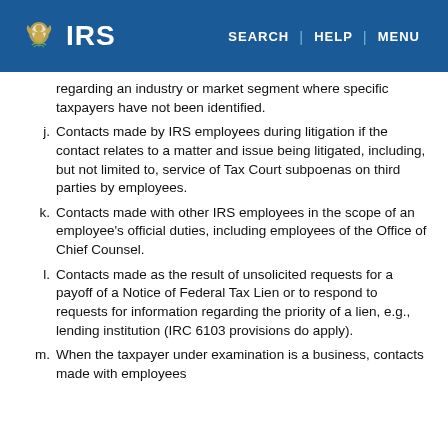IRS | SEARCH | HELP | MENU
regarding an industry or market segment where specific taxpayers have not been identified.
j. Contacts made by IRS employees during litigation if the contact relates to a matter and issue being litigated, including, but not limited to, service of Tax Court subpoenas on third parties by employees.
k. Contacts made with other IRS employees in the scope of an employee's official duties, including employees of the Office of Chief Counsel.
l. Contacts made as the result of unsolicited requests for a payoff of a Notice of Federal Tax Lien or to respond to requests for information regarding the priority of a lien, e.g., lending institution (IRC 6103 provisions do apply).
m. When the taxpayer under examination is a business, contacts made with employees